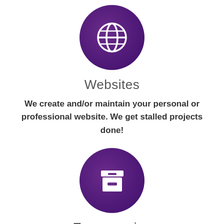[Figure (illustration): Purple circle icon with white globe/website symbol]
Websites
We create and/or maintain your personal or professional website. We get stalled projects done!
[Figure (illustration): Purple circle icon with white archive/box symbol]
Emergencies
Trouble with malware, hackers, or viruses?  Turn to I.M.A. for recovery options.  We can also help